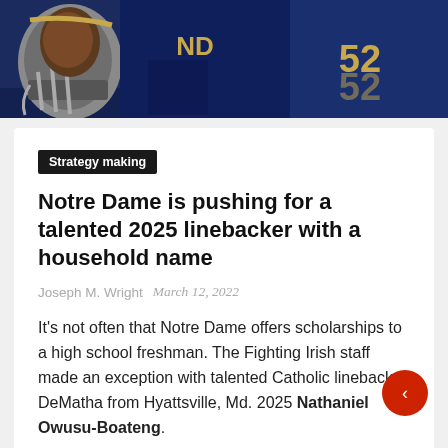[Figure (photo): Notre Dame football players in navy blue jerseys and helmets with ND logo]
Strategy making
Notre Dame is pushing for a talented 2025 linebacker with a household name
Joseph M. Wright   March 12, 2022
It's not often that Notre Dame offers scholarships to a high school freshman. The Fighting Irish staff made an exception with talented Catholic linebacker DeMatha from Hyattsville, Md. 2025 Nathaniel Owusu-Boateng.